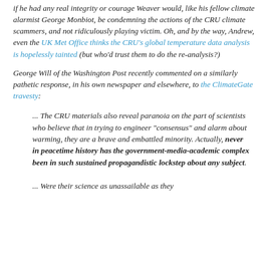if he had any real integrity or courage Weaver would, like his fellow climate alarmist George Monbiot, be condemning the actions of the CRU climate scammers, and not ridiculously playing victim. Oh, and by the way, Andrew, even the UK Met Office thinks the CRU's global temperature data analysis is hopelessly tainted (but who'd trust them to do the re-analysis?)
George Will of the Washington Post recently commented on a similarly pathetic response, in his own newspaper and elsewhere, to the ClimateGate travesty:
... The CRU materials also reveal paranoia on the part of scientists who believe that in trying to engineer "consensus" and alarm about warming, they are a brave and embattled minority. Actually, never in peacetime history has the government-media-academic complex been in such sustained propagandistic lockstep about any subject.
... Were their science as unassailable as they